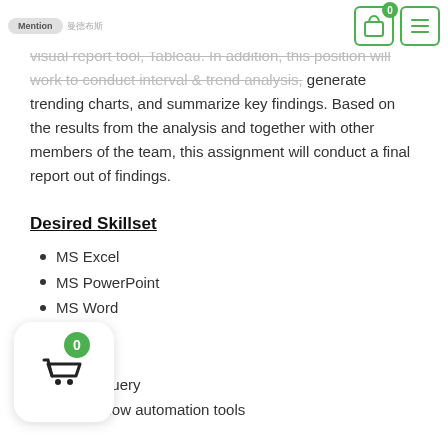visual report tool, Tableau. In addition, this position will work to conduct interval & trend analysis, generate trending charts, and summarize key findings. Based on the results from the analysis and together with other members of the team, this assignment will conduct a final report out of findings.
Desired Skillset
MS Excel
MS PowerPoint
MS Word
Tableau
PowerBI
SQL Query
data workflow automation tools